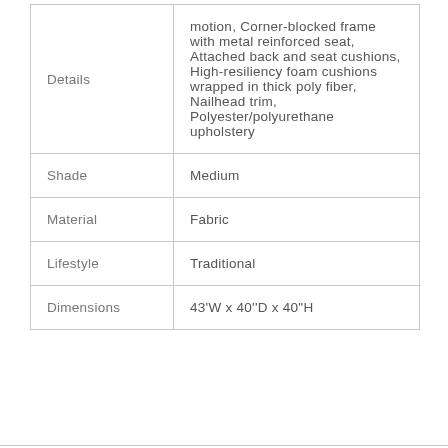|  |  |
| --- | --- |
| Details | motion, Corner-blocked frame with metal reinforced seat, Attached back and seat cushions, High-resiliency foam cushions wrapped in thick poly fiber, Nailhead trim, Polyester/polyurethane upholstery |
| Shade | Medium |
| Material | Fabric |
| Lifestyle | Traditional |
| Dimensions | 43'W x 40''D x 40"H |